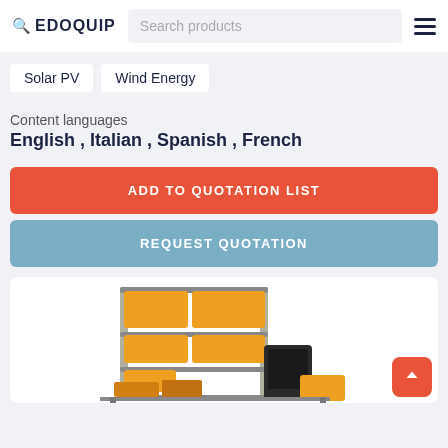EDOQUIP | Search products
Solar PV
Wind Energy
Content languages
English , Italian , Spanish , French
ADD TO QUOTATION LIST
REQUEST QUOTATION
[Figure (photo): Educational workbench with orange-paneled modules in a metal rack, along with portable black equipment units on a lab table.]